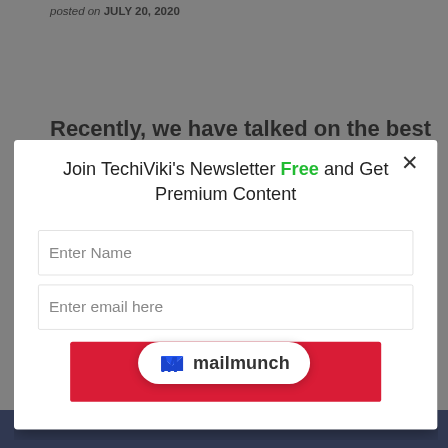posted on JULY 20, 2020
Recently, we have talked on the best SEO tips for
[Figure (screenshot): Modal popup for TechiViki newsletter signup with fields for name and email, a Submit button, and mailmunch branding at the bottom. Overlay on a blog page background.]
TAGGED WITH: ... SEARCH